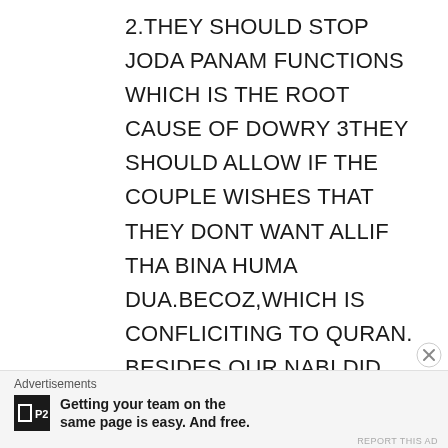2.THEY SHOULD STOP JODA PANAM FUNCTIONS WHICH IS THE ROOT CAUSE OF DOWRY 3THEY SHOULD ALLOW IF THE COUPLE WISHES THAT THEY DONT WANT ALLIF THA BINA HUMA DUA.BECOZ,WHICH IS CONFLICITING TO QURAN. BESIDES OUR NABI DID NOT RECITED THIS DUA DURING HIS DAUGHTER'S MARRIAGE. 4.INSTEAD OF HELPING TO POOR VIRGINS TO GET MARRIAGE,THEY SHOULD HELP POOR BOYS ,MAPPIAI BY ENABLING THEM TO GIVE MAHAR TO BRIDE IN HANDSOME AMOUNT.
Advertisements
Getting your team on the same page is easy. And free.